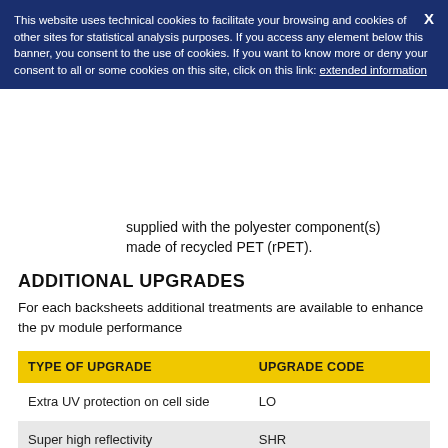This website uses technical cookies to facilitate your browsing and cookies of other sites for statistical analysis purposes. If you access any element below this banner, you consent to the use of cookies. If you want to know more or deny your consent to all or some cookies on this site, click on this link: extended information
supplied with the polyester component(s) made of recycled PET (rPET).
ADDITIONAL UPGRADES
For each backsheets additional treatments are available to enhance the pv module performance
| TYPE OF UPGRADE | UPGRADE CODE |
| --- | --- |
| Extra UV protection on cell side | LO |
| Super high reflectivity | SHR |
| Black polyester on air side and black on cell side | BK |